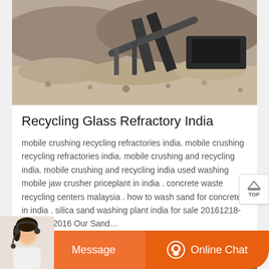[Figure (photo): Quarry mining machinery with conveyor belts and crushed stone piles at a mining site]
Recycling Glass Refractory India
mobile crushing recycling refractories india. mobile crushing recycling refractories india. mobile crushing and recycling india. mobile crushing and recycling india used washing mobile jaw crusher priceplant in india . concrete waste recycling centers malaysia . how to wash sand for concrete in india . silica sand washing plant india for sale 20161218- Aug 12, 2016 Our Sand…
[Figure (photo): Mining site with green mountains in the background, partially visible]
[Figure (photo): Customer service agent (woman with headset) for online chat support]